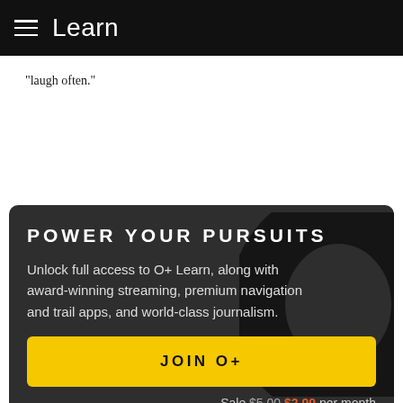Learn
“laugh often.”
[Figure (infographic): Dark promotional card for O+ Learn subscription service with headline 'POWER YOUR PURSUITS', body text about unlocking full access, a yellow JOIN O+ button, and a sale price of $2.99 per month (was $5.00)]